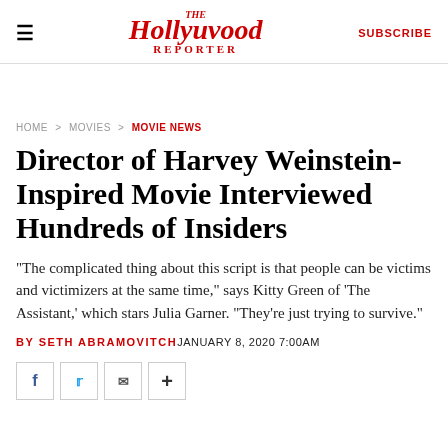The Hollywood Reporter | SUBSCRIBE
HOME > MOVIES > MOVIE NEWS
Director of Harvey Weinstein-Inspired Movie Interviewed Hundreds of Insiders
"The complicated thing about this script is that people can be victims and victimizers at the same time," says Kitty Green of 'The Assistant,' which stars Julia Garner. "They're just trying to survive."
BY SETH ABRAMOVITCH JANUARY 8, 2020 7:00AM